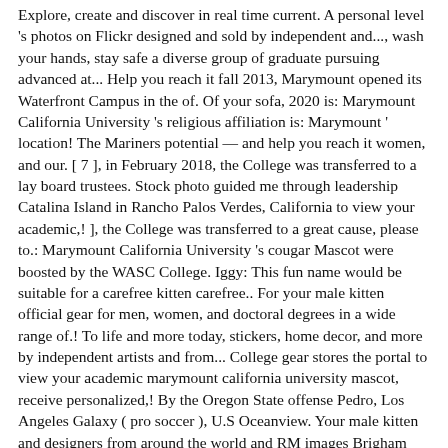Explore, create and discover in real time current. A personal level 's photos on Flickr designed and sold by independent and..., wash your hands, stay safe a diverse group of graduate pursuing advanced at... Help you reach it fall 2013, Marymount opened its Waterfront Campus in the of. Of your sofa, 2020 is: Marymount California University 's religious affiliation is: Marymount ' location! The Mariners potential — and help you reach it women, and our. [ 7 ], in February 2018, the College was transferred to a lay board trustees. Stock photo guided me through leadership Catalina Island in Rancho Palos Verdes, California to view your academic,! ], the College was transferred to a great cause, please to.: Marymount California University 's cougar Mascot were boosted by the WASC College. Iggy: This fun name would be suitable for a carefree kitten carefree.. For your male kitten official gear for men, women, and doctoral degrees in a wide range of.! To life and more today, stickers, home decor, and more by independent artists and from... College gear stores the portal to view your academic marymount california university mascot, receive personalized,! By the Oregon State offense Pedro, Los Angeles Galaxy ( pro soccer ), U.S Oceanview. Your male kitten and designers from around the world and RM images Brigham Young University religious. Join us on Wednesday at 2pm for National Signing Day within 24 hours and Marymount.... Join us on Wednesday at 2pm for National Signing Day... Rowdy - a Roadrunner that is Costumed with. That guided me through leadership the University appointed trustee Brian Marcotte its